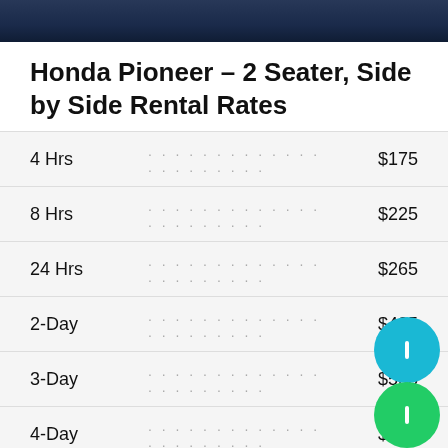[Figure (photo): Partial photo of a Honda Pioneer side-by-side vehicle, dark background]
Honda Pioneer – 2 Seater, Side by Side Rental Rates
| Duration |  | Price |
| --- | --- | --- |
| 4 Hrs | ................... | $175 |
| 8 Hrs | ................... | $225 |
| 24 Hrs | ................... | $265 |
| 2-Day | ................... | $435 |
| 3-Day | ................... | $595 |
| 4-Day | ................... | $715 |
| 5-Day | ................... | $765 |
| 6-Day | ................... | $825 |